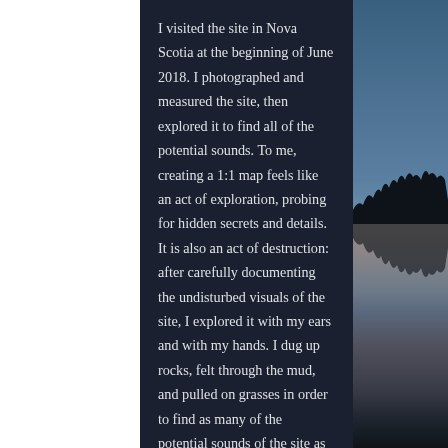[Figure (photo): Twilight/dusk landscape photo showing a silhouette of a treeline reflected in still water, with a gradient sky from blue at top to orange/peach at horizon. Occupies the right portion of the page.]
I visited the site in Nova Scotia at the beginning of June 2018. I photographed and measured the site, then explored it to find all of the potential sounds. To me, creating a 1:1 map feels like an act of exploration, probing for hidden secrets and details. It is also an act of destruction: after carefully documenting the undisturbed visuals of the site, I explored it with my ears and with my hands. I dug up rocks, felt through the mud, and pulled on grasses in order to find as many of the potential sounds of the site as possible. Though I replaced what material I could, the act of finding these sounds irreparably altered the site.
From the sounds that I recorded, I assembled six files of lightly-processed